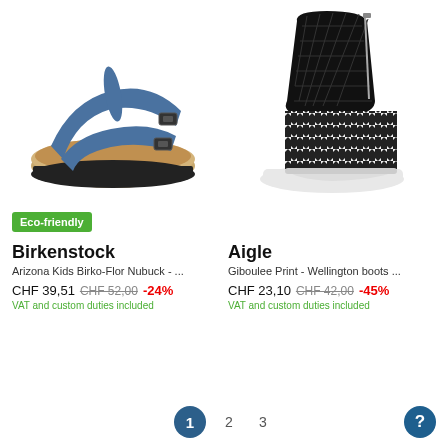[Figure (photo): Blue Birkenstock Arizona Kids Birko-Flor Nubuck sandal with two straps and cork footbed]
[Figure (photo): Aigle Giboulee Print Wellington boot with quilted black top and black-and-white houndstooth pattern lower]
Eco-friendly
Birkenstock
Arizona Kids Birko-Flor Nubuck - ...
CHF 39,51  CHF 52,00  -24%
VAT and custom duties included
Aigle
Giboulee Print - Wellington boots ...
CHF 23,10  CHF 42,00  -45%
VAT and custom duties included
1  2  3